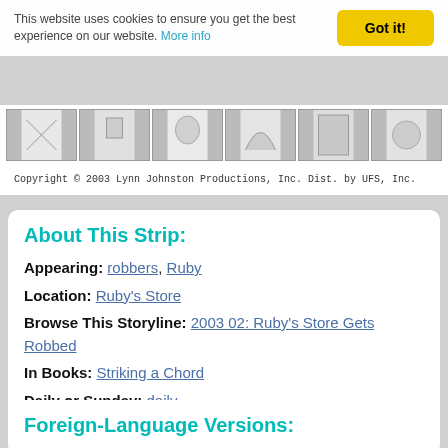This website uses cookies to ensure you get the best experience on our website. More info
[Figure (illustration): Comic strip panels in black and white showing characters]
Copyright  © 2003 Lynn Johnston Productions, Inc. Dist. by UFS, Inc.
About This Strip:
Appearing: robbers, Ruby
Location: Ruby's Store
Browse This Storyline: 2003 02: Ruby's Store Gets Robbed
In Books: Striking a Chord
Daily or Sunday: daily
Foreign-Language Versions: